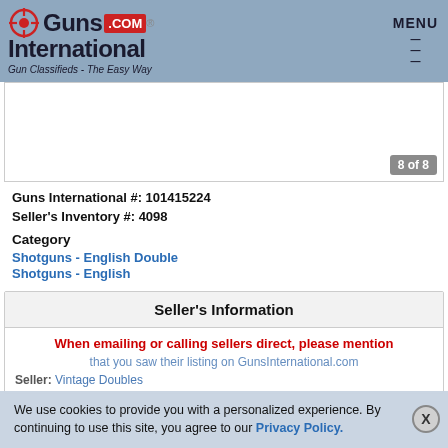Guns International .com — Gun Classifieds - The Easy Way — MENU
[Figure (photo): Product image placeholder showing image 8 of 8]
Guns International #: 101415224
Seller's Inventory #: 4098
Category
Shotguns - English Double
Shotguns - English
Seller's Information
When emailing or calling sellers direct, please mention that you saw their listing on GunsInternational.com
Seller: Vintage Doubles
We use cookies to provide you with a personalized experience. By continuing to use this site, you agree to our Privacy Policy.